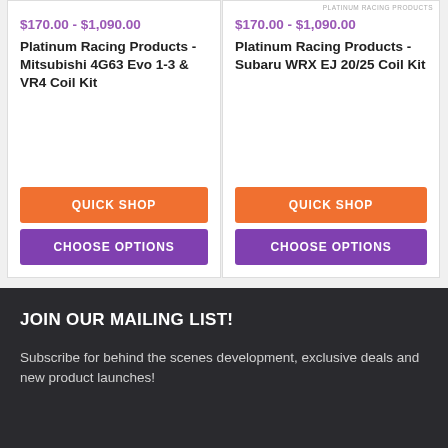$170.00 - $1,090.00
Platinum Racing Products - Mitsubishi 4G63 Evo 1-3 & VR4 Coil Kit
QUICK SHOP
CHOOSE OPTIONS
$170.00 - $1,090.00
Platinum Racing Products - Subaru WRX EJ 20/25 Coil Kit
QUICK SHOP
CHOOSE OPTIONS
JOIN OUR MAILING LIST!
Subscribe for behind the scenes development, exclusive deals and new product launches!